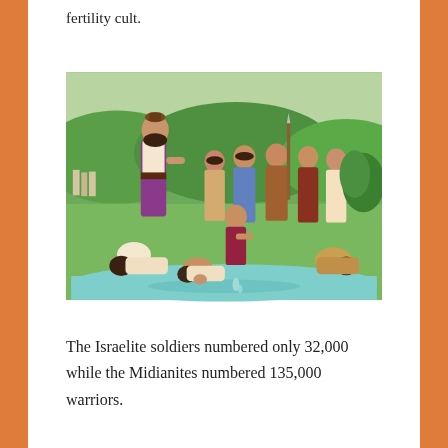fertility cult.
[Figure (illustration): Biblical illustration showing Gideon selecting soldiers at a river. A tall bearded man in robes stands center-left overseeing a group of warriors. In the foreground, some soldiers kneel and drink from a stream with their hands while others lap water directly. Several armed men stand in the background on a green hillside.]
The Israelite soldiers numbered only 32,000 while the Midianites numbered 135,000 warriors.